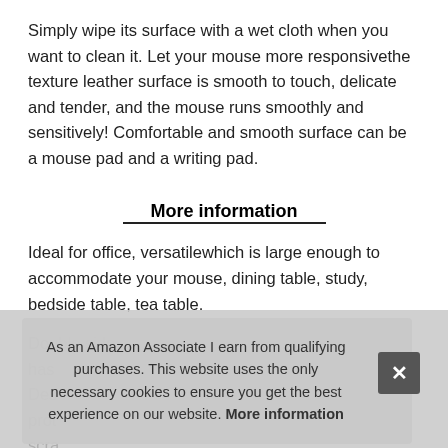Simply wipe its surface with a wet cloth when you want to clean it. Let your mouse more responsivethe texture leather surface is smooth to touch, delicate and tender, and the mouse runs smoothly and sensitively! Comfortable and smooth surface can be a mouse pad and a writing pad.
More information
Ideal for office, versatilewhich is large enough to accommodate your mouse, dining table, study, bedside table, tea table.
Dou... has... Des... prot... scra... cleanwater-resistant, wear-resistant and stain resistant
As an Amazon Associate I earn from qualifying purchases. This website uses the only necessary cookies to ensure you get the best experience on our website. More information